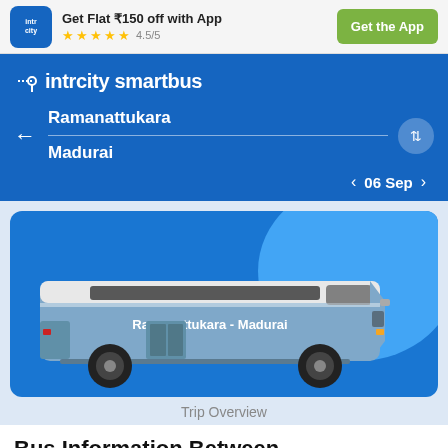[Figure (screenshot): IntrCity app advertisement banner with logo, star rating 4.5/5, and Get the App button]
Get Flat ₹150 off with App
★★★★☆ 4.5/5
Get the App
[Figure (logo): IntrCity SmartBus logo with location pin icon]
Ramanattukara
Madurai
06 Sep
[Figure (illustration): Blue intercity bus illustration with text 'Ramanattukara - Madurai' on the side]
Trip Overview
Bus Information Between Ramanattukara & Madurai